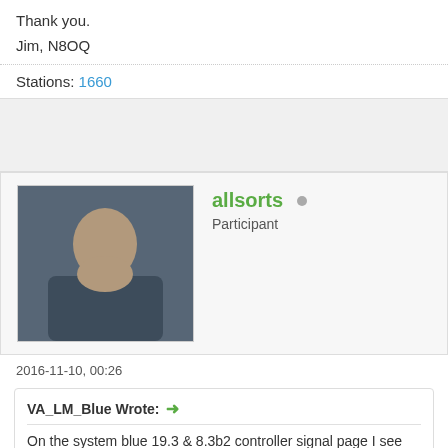Thank you.
Jim, N8OQ
Stations: 1660
allsorts  Participant
2016-11-10, 00:26
VA_LM_Blue Wrote: → On the system blue 19.3 & 8.3b2 controller signal page I see these "S, L, & L P" sometimes being written just to the right of the 1A and I have searched but have not found any information on their meaning. What are the meanings of these letters? 😊